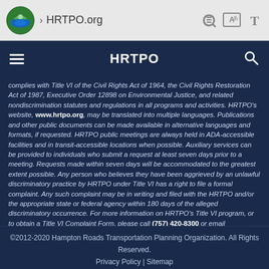HRTPO.org
HRTPO
complies with Title VI of the Civil Rights Act of 1964, the Civil Rights Restoration Act of 1987, Executive Order 12898 on Environmental Justice, and related nondiscrimination statutes and regulations in all programs and activities. HRTPO's website, www.hrtpo.org, may be translated into multiple languages. Publications and other public documents can be made available in alternative languages and formats, if requested. HRTPO public meetings are always held in ADA-accessible facilities and in transit-accessible locations when possible. Auxiliary services can be provided to individuals who submit a request at least seven days prior to a meeting. Requests made within seven days will be accommodated to the greatest extent possible. Any person who believes they have been aggrieved by an unlawful discriminatory practice by HRTPO under Title VI has a right to file a formal complaint. Any such complaint may be in writing and filed with the HRTPO and/or the appropriate state or federal agency within 180 days of the alleged discriminatory occurrence. For more information on HRTPO's Title VI program, or to obtain a Title VI Complaint Form, please call (757) 420-8300 or email rcrum@hrtpo.org.
©2012-2020 Hampton Roads Transportation Planning Organization. All Rights Reserved. Privacy Policy | Sitemap